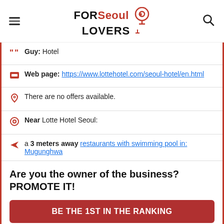FOR Seoul LOVERS
Guy: Hotel
Web page: https://www.lottehotel.com/seoul-hotel/en.html
There are no offers available.
Near Lotte Hotel Seoul:
a 3 meters away restaurants with swimming pool in: Mugunghwa
Are you the owner of the business? PROMOTE IT!
BE THE 1ST IN THE RANKING